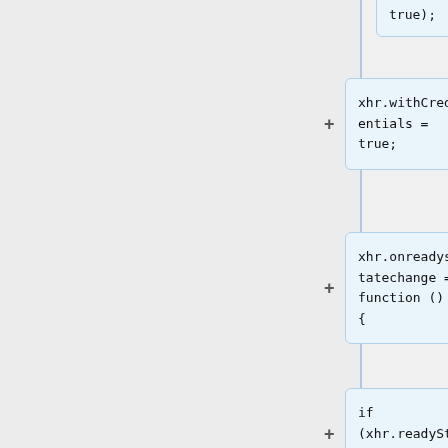true);
xhr.withCredentials = true;
xhr.onreadystatechange = function () {
if (xhr.readyState === 4) {
if (xhr.status === 200 && JSON.parse(x